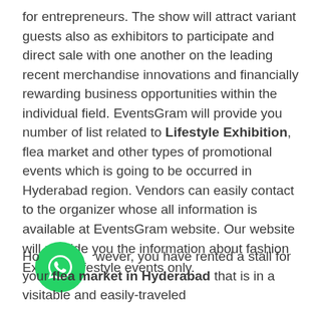for entrepreneurs. The show will attract variant guests also as exhibitors to participate and direct sale with one another on the leading recent merchandise innovations and financially rewarding business opportunities within the individual field. EventsGram will provide you number of list related to Lifestyle Exhibition, flea market and other types of promotional events which is going to be occurred in Hyderabad region. Vendors can easily contact to the organizer whose all information is available at EventsGram website. Our website will provide you the information about fashion Expo or Lifestyle events only.
[Figure (other): Green circular WhatsApp icon button]
However, you have rented a stall for your flea market in Hyderabad that is in a visitable and easily-traveled